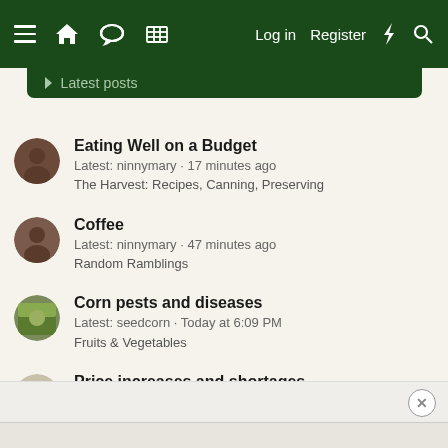Log in  Register
Eating Well on a Budget
Latest: ninnymary · 17 minutes ago
The Harvest: Recipes, Canning, Preserving
Coffee
Latest: ninnymary · 47 minutes ago
Random Ramblings
Corn pests and diseases
Latest: seedcorn · Today at 6:09 PM
Fruits & Vegetables
Price increases and shortages
Latest: Pulsegleaner · Today at 5:28 PM
Random Ramblings
The Pond Thread
Latest: secuono · Today at 4:51 PM
Lawns & Landscaping